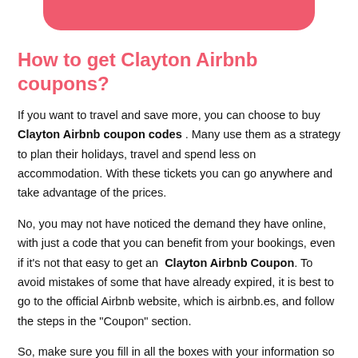[Figure (other): Red rounded rectangle bar at the top of the page, partial view]
How to get Clayton Airbnb coupons?
If you want to travel and save more, you can choose to buy Clayton Airbnb coupon codes . Many use them as a strategy to plan their holidays, travel and spend less on accommodation. With these tickets you can go anywhere and take advantage of the prices.
No, you may not have noticed the demand they have online, with just a code that you can benefit from your bookings, even if it's not that easy to get an Clayton Airbnb Coupon. To avoid mistakes of some that have already expired, it is best to go to the official Airbnb website, which is airbnb.es, and follow the steps in the "Coupon" section.
So, make sure you fill in all the boxes with your information so that